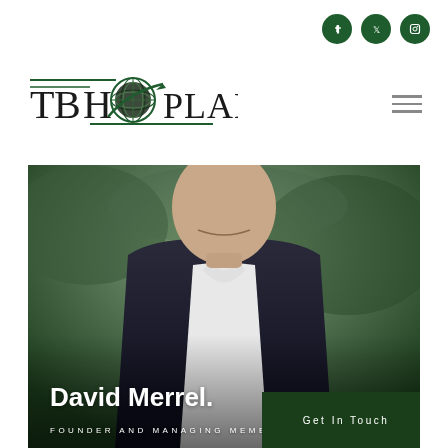[Figure (logo): TBH Plan logo with circular graphic and text]
[Figure (photo): Professional photo of David Merrel, a man in a dark suit with white shirt, smiling, outdoors with green foliage background]
David Merrel.
FOUNDER AND MANAGING MEMBER